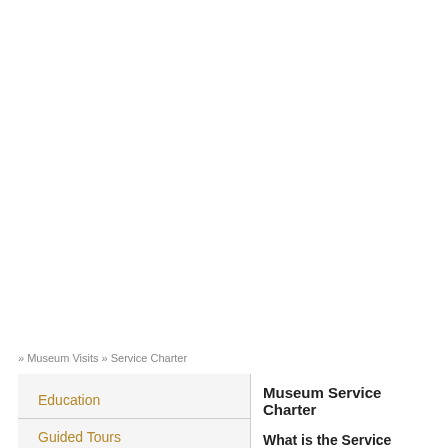» Museum Visits » Service Charter
Education
Guided Tours
Persons with Hearing Disabilities
Storage
Plan Your Visit
Guides and Catalogues
Museum Service Charter
What is the Service Charter
The Service Chater is a tool through whi... committed to on the basis of its own Sta... satisfaction is the Gallery's main objectiv... -the principles listed in the Directive of th... -art. 11 D. Lgs. 286/99 "Riordino e poter... dei risultati dell'attività svolta dalle ammi... -Ministerial Decree, May 10, 2001, "Atto... particular section VII which defines the M... -ICOM (International Council of Museum... -Regional law no. 1, January 5, 2000, "R...